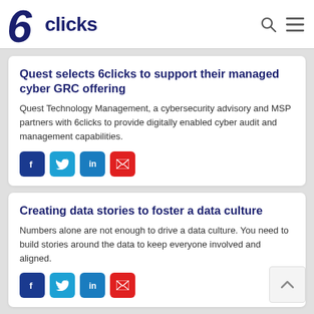6clicks
Quest selects 6clicks to support their managed cyber GRC offering
Quest Technology Management, a cybersecurity advisory and MSP partners with 6clicks to provide digitally enabled cyber audit and management capabilities.
Creating data stories to foster a data culture
Numbers alone are not enough to drive a data culture. You need to build stories around the data to keep everyone involved and aligned.